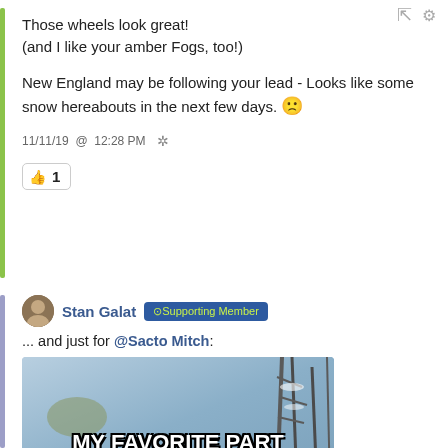Those wheels look great!
(and I like your amber Fogs, too!)
New England may be following your lead - Looks like some snow hereabouts in the next few days. 🙁
11/11/19 @ 12:28 PM *
[like button] 1
Stan Galat @Supporting Member
... and just for @Sacto Mitch:
[Figure (photo): Meme image with winter tree background and bold text reading MY FAVORITE PART OF WINTER IS]